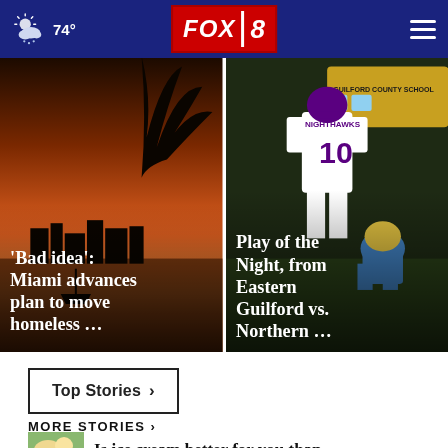74° FOX 8
[Figure (photo): Sunset over Miami waterfront with silhouetted palm tree and boat; headline overlay: ‘Bad idea’: Miami advances plan to move homeless …]
[Figure (photo): Football player wearing jersey number 10 for Nighthawks, Guilford County Schools bus in background; headline overlay: Play of the Night, from Eastern Guilford vs. Northern …]
Top Stories ›
MORE STORIES ›
[Figure (photo): Small thumbnail image (partially visible) next to truncated headline: Is ice cream better for you than …]